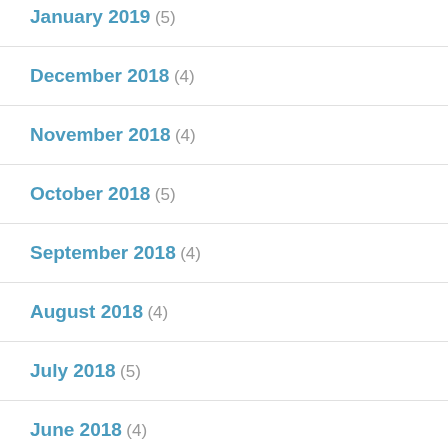January 2019 (5)
December 2018 (4)
November 2018 (4)
October 2018 (5)
September 2018 (4)
August 2018 (4)
July 2018 (5)
June 2018 (4)
May 2018 (5)